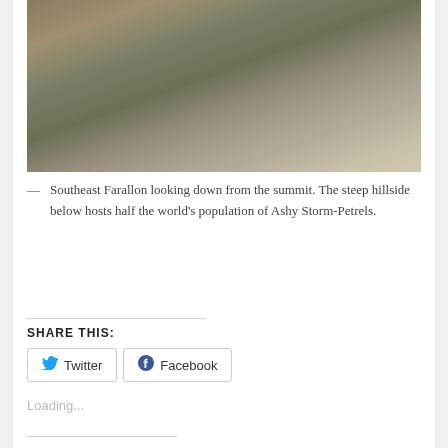[Figure (photo): Photograph of Southeast Farallon looking down from the summit showing a steep rocky hillside with brown grasses and rocky outcroppings]
— Southeast Farallon looking down from the summit. The steep hillside below hosts half the world's population of Ashy Storm-Petrels.
SHARE THIS:
Twitter  Facebook
Loading...